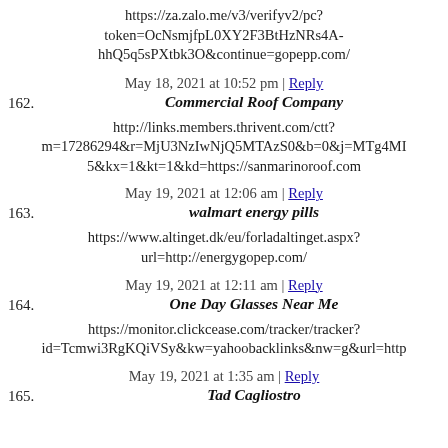https://za.zalo.me/v3/verifyv2/pc?token=OcNsmjfpL0XY2F3BtHzNRs4A-hhQ5q5sPXtbk3O&continue=gopepp.com/
May 18, 2021 at 10:52 pm | Reply
162. Commercial Roof Company
http://links.members.thrivent.com/ctt?m=17286294&r=MjU3NzIwNjQ5MTAzS0&b=0&j=MTg4MI5&kx=1&kt=1&kd=https://sanmarinoroof.com
May 19, 2021 at 12:06 am | Reply
163. walmart energy pills
https://www.altinget.dk/eu/forladaltinget.aspx?url=http://energygopep.com/
May 19, 2021 at 12:11 am | Reply
164. One Day Glasses Near Me
https://monitor.clickcease.com/tracker/tracker?id=Tcmwi3RgKQiVSy&kw=yahoobacklinks&nw=g&url=http
May 19, 2021 at 1:35 am | Reply
165. Tad Cagliostro